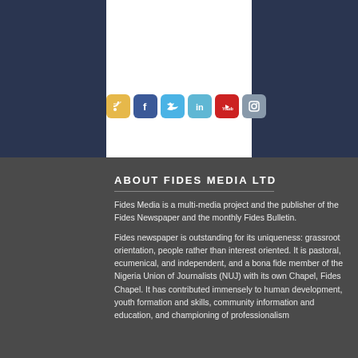[Figure (infographic): Social media icons row: RSS (yellow), Facebook (blue), Twitter (light blue), LinkedIn (teal), YouTube (red), Instagram (grey)]
ABOUT FIDES MEDIA LTD
Fides Media is a multi-media project and the publisher of the Fides Newspaper and the monthly Fides Bulletin.
Fides newspaper is outstanding for its uniqueness: grassroot orientation, people rather than interest oriented. It is pastoral, ecumenical, and independent, and a bona fide member of the Nigeria Union of Journalists (NUJ) with its own Chapel, Fides Chapel. It has contributed immensely to human development, youth formation and skills, community information and education, and championing of professionalism